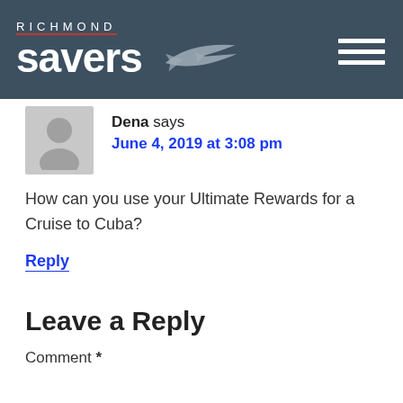RICHMOND savers
Dena says
June 4, 2019 at 3:08 pm
How can you use your Ultimate Rewards for a Cruise to Cuba?
Reply
Leave a Reply
Comment *